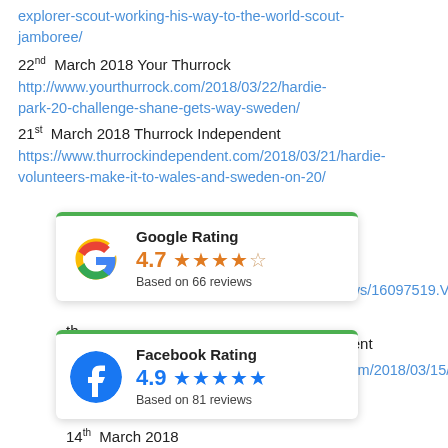explorer-scout-working-his-way-to-the-world-scout-jamboree/
22nd March 2018 Your Thurrock
http://www.yourthurrock.com/2018/03/22/hardie-park-20-challenge-shane-gets-way-sweden/
21st March 2018 Thurrock Independent
https://www.thurrockindependent.com/2018/03/21/hardie-volunteers-make-it-to-wales-and-sweden-on-20/
[Figure (infographic): Google Rating widget: 4.7 stars based on 66 reviews, with Google G logo and green top border]
.uk/news/16097519.Volunteer
th ependent
[Figure (infographic): Facebook Rating widget: 4.9 stars based on 81 reviews, with Facebook logo and green top border]
dent.com/2018/03/15/rob- e/
14th March 2018